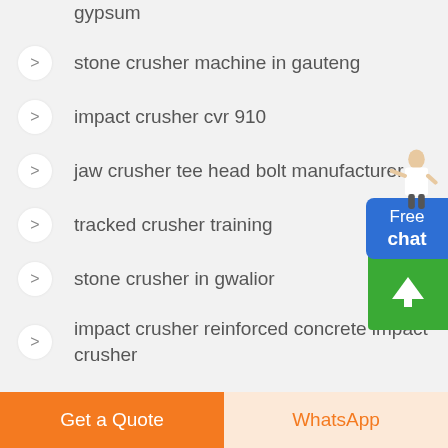gypsum
stone crusher machine in gauteng
impact crusher cvr 910
jaw crusher tee head bolt manufacturer
tracked crusher training
stone crusher in gwalior
impact crusher reinforced concrete impact crusher
Get a Quote
WhatsApp